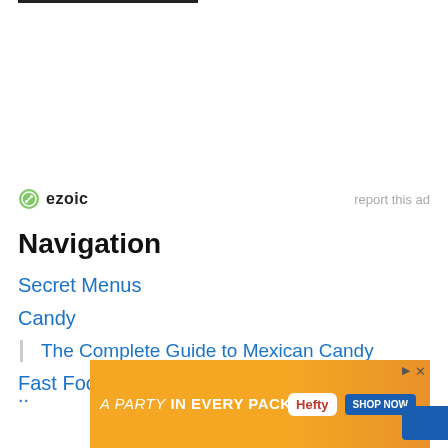[Figure (logo): Ezoic logo with green circular icon and bold 'ezoic' text, with 'report this ad' text to the right]
Navigation
Secret Menus
Candy
The Complete Guide to Mexican Candy
Fast Food
[Figure (screenshot): Hefty brand advertisement banner: 'A PARTY in EVERY PACK' with Hefty party cups image and 'SHOP NOW' blue button]